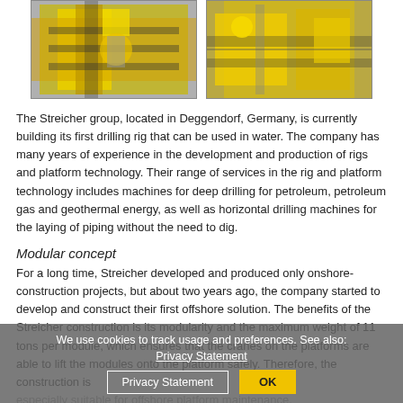[Figure (photo): Two photographs side by side showing yellow industrial drilling rig machinery components]
The Streicher group, located in Deggendorf, Germany, is currently building its first drilling rig that can be used in water. The company has many years of experience in the development and production of rigs and platform technology. Their range of services in the rig and platform technology includes machines for deep drilling for petroleum, petroleum gas and geothermal energy, as well as horizontal drilling machines for the laying of piping without the need to dig.
Modular concept
For a long time, Streicher developed and produced only onshore-construction projects, but about two years ago, the company started to develop and construct their first offshore solution. The benefits of the Streicher construction is its modularity and the maximum weight of 11 tons per module, which ensures that the cranes on the platforms are able to lift the modules onto the platform safely. Therefore, the construction is especially suitable for offshore platform maintenance. Employees assemble the structural components in full at the Streicher premises in Deggendorf. This means, the whole.
We use cookies to track usage and preferences. See also: Privacy Statement